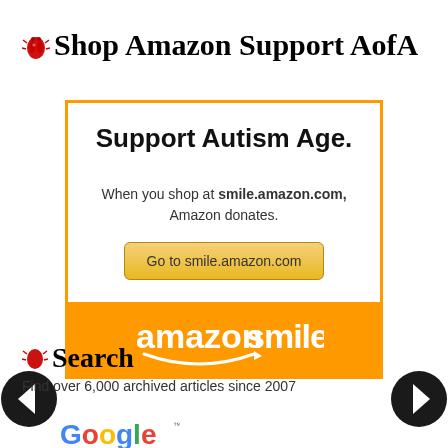Shop Amazon Support AofA
[Figure (infographic): AmazonSmile promotional banner with white inner box containing 'Support Autism Age.' heading, text 'When you shop at smile.amazon.com, Amazon donates.' and a button 'Go to smile.amazon.com', with orange footer showing amazonsmile logo]
Search
Find over 6,000 archived articles since 2007
[Figure (logo): Google logo with trademark symbol]